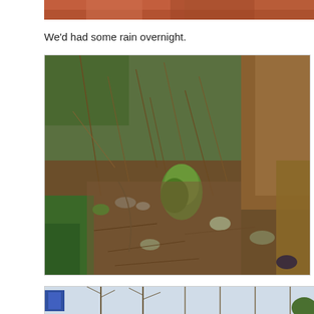[Figure (photo): Partial view of a photo at the top of the page, showing what appears to be reddish-brown clothing or fabric.]
We'd had some rain overnight.
[Figure (photo): Outdoor garden or wild hillside scene showing dry grass, bare branches, twigs, and a small green plant in the foreground. Brown ornamental grasses visible on the right side.]
[Figure (photo): Partial view of a photo at the bottom showing bare winter trees and what appears to be a blue sign on the left.]